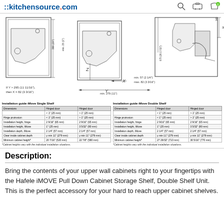::kitchensource.com
[Figure (engineering-diagram): Technical installation diagram for iMove shelf system showing dimensions: Z height, X depth (min 57 (2 1/4"), max 82 (3 3/16")), Y width (min 279 (11")), 380 (15"), min. 25 (1"), 340, 675 (26 17/32"), 385. Note: If Y > 295 (11 11/16"), then X = 82 (3 3/16")]
| Dimensions | Hinged door < 1" (25 mm) | Hinged door > 1" (25 mm) |
| --- | --- | --- |
| Hinge protrusion | < 1" (25 mm) | > 1" (25 mm) |
| Installation height, hinge | 2 9/16" (65 mm) | 2 9/16" (65 mm) |
| Installation height, iMove | 1" (25 mm) | 3 5/32" (80 mm) |
| Installation depth, iMove | 2 1/4" (57 mm) | 2 1/4" (57 mm) |
| Clear inside cabinet depth | y min 11" (279 mm) | y min 11" (279 mm) |
| Minimum cabinet height* | 20 7/16" (520 mm) | 22 7/8" (580 mm) |
*Cabinet heights vary with the individual installation situations.
| Dimensions | Hinged door < 1" (25 mm) | Hinged door > 1" (25 mm) |
| --- | --- | --- |
| Hinge protrusion | < 1" (25 mm) | > 1" (25 mm) |
| Installation height, hinge | 2 9/16" (65 mm) | 2 9/16" (65 mm) |
| Installation height, iMove | 1" (25 mm) | 3 5/32" (80 mm) |
| Installation depth, iMove | 2 1/4" (57 mm) | 2 1/4" (57 mm) |
| Clear inside cabinet depth | y min 11" (279 mm) | y min 11" (279 mm) |
| Minimum cabinet height* | 27 29/32" (710 mm) | 30 5/16" (770 mm) |
*Cabinet heights vary with the individual installation situations.
Description:
Bring the contents of your upper wall cabinets right to your fingertips with the Hafele iMOVE Pull Down Cabinet Storage Shelf, Double Shelf Unit. This is the perfect accessory for your hard to reach upper cabinet shelves.